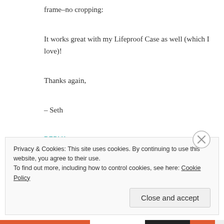frame–no cropping:
It works great with my Lifeproof Case as well (which I love)!
Thanks again,
– Seth
REPLY
Privacy & Cookies: This site uses cookies. By continuing to use this website, you agree to their use.
To find out more, including how to control cookies, see here: Cookie Policy
Close and accept